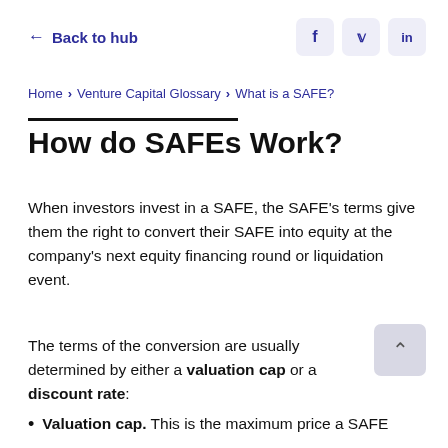← Back to hub
Home > Venture Capital Glossary > What is a SAFE?
How do SAFEs Work?
When investors invest in a SAFE, the SAFE's terms give them the right to convert their SAFE into equity at the company's next equity financing round or liquidation event.
The terms of the conversion are usually determined by either a valuation cap or a discount rate:
Valuation cap. This is the maximum price a SAFE